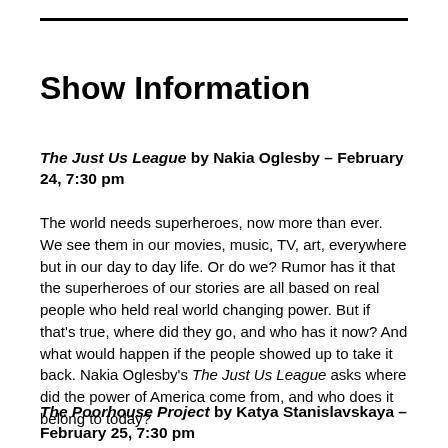Show Information
The Just Us League by Nakia Oglesby – February 24, 7:30 pm
The world needs superheroes, now more than ever. We see them in our movies, music, TV, art, everywhere but in our day to day life. Or do we? Rumor has it that the superheroes of our stories are all based on real people who held real world changing power. But if that's true, where did they go, and who has it now? And what would happen if the people showed up to take it back. Nakia Oglesby's The Just Us League asks where did the power of America come from, and who does it belong to today?
The Poorhouse Project by Katya Stanislavskaya – February 25, 7:30 pm